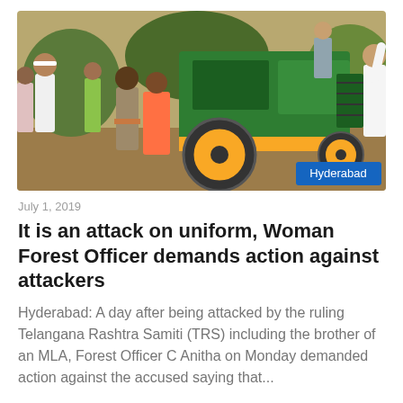[Figure (photo): A crowd of people gathered near a green John Deere tractor outdoors on a dirt ground. A woman in a police/forest officer uniform is visible in the foreground among the crowd. One man raises his arm. A 'Hyderabad' label badge appears in the bottom-right corner of the image.]
July 1, 2019
It is an attack on uniform, Woman Forest Officer demands action against attackers
Hyderabad: A day after being attacked by the ruling Telangana Rashtra Samiti (TRS) including the brother of an MLA, Forest Officer C Anitha on Monday demanded action against the accused saying that...